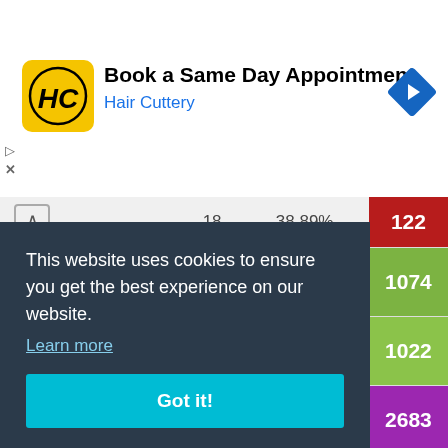[Figure (screenshot): Hair Cuttery ad banner: HC logo, 'Book a Same Day Appointment' title, 'Hair Cuttery' subtitle in blue, navigation arrow icon]
|  |  |  |  |
| --- | --- | --- | --- |
|  | 18 | 38.89% | 122 |
| T-100 LT | 33 | 45.45% | 1074 |
| T-10 | 276 | 47.46% | 1022 |
| T 55A | 166 | 65.66% | 2683 |
This website uses cookies to ensure you get the best experience on our website.
Learn more
Got it!